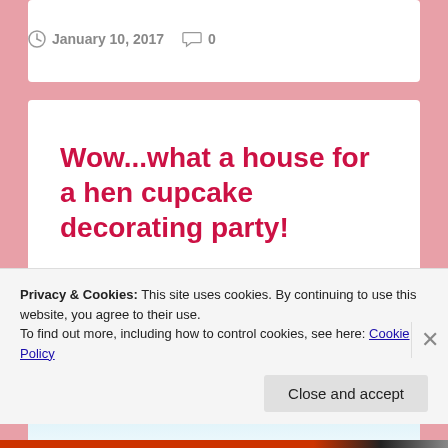January 10, 2017   0
Wow...what a house for a hen cupcake decorating party!
[Figure (photo): Blue sky partial view at the top of article image]
Privacy & Cookies: This site uses cookies. By continuing to use this website, you agree to their use.
To find out more, including how to control cookies, see here: Cookie Policy
Close and accept